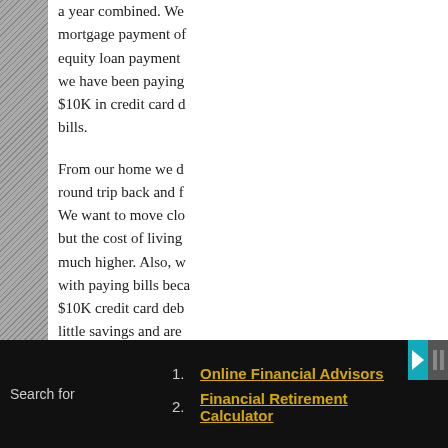a year combined. We mortgage payment of equity loan payment we have been paying $10K in credit card d bills.
From our home we d round trip back and f We want to move clo but the cost of living much higher. Also, w with paying bills bec $10K credit card deb little savings and are each month with bills thinking of selling th
Search for
1. Online Financial Advisors
2. Financial Retirement Calculator